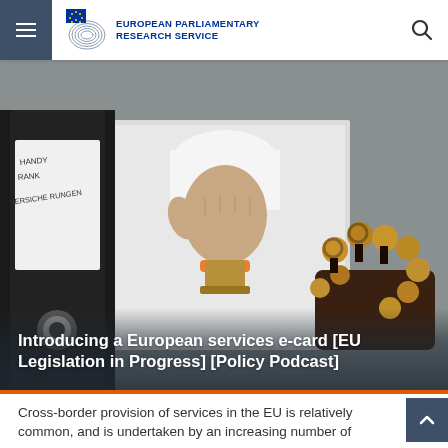European Parliamentary Research Service
[Figure (photo): A hand pressing a rubber stamp onto a white sheet of paper on a desk. To the left is a black binder labeled with German text (HANDY, RANK, VERSICHERUNGEN). To the right is a collection of rubber stamps with brown wooden handles.]
Introducing a European services e-card [EU Legislation in Progress] [Policy Podcast]
Cross-border provision of services in the EU is relatively common, and is undertaken by an increasing number of